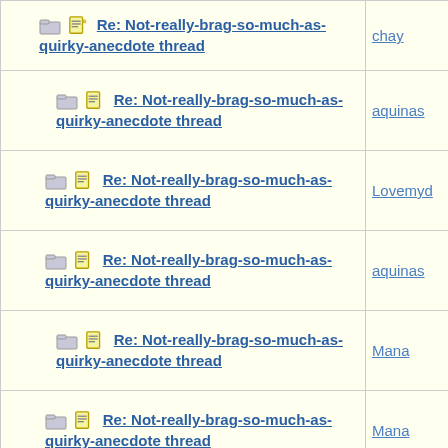| Subject | Author |
| --- | --- |
| Re: Not-really-brag-so-much-as-quirky-anecdote thread | chay |
| Re: Not-really-brag-so-much-as-quirky-anecdote thread | aquinas |
| Re: Not-really-brag-so-much-as-quirky-anecdote thread | Lovemyd |
| Re: Not-really-brag-so-much-as-quirky-anecdote thread | aquinas |
| Re: Not-really-brag-so-much-as-quirky-anecdote thread | Mana |
| Re: Not-really-brag-so-much-as-quirky-anecdote thread | Mana |
| Re: Not-really-brag-so-much-as-quirky-anecdote thread | Nautiqal |